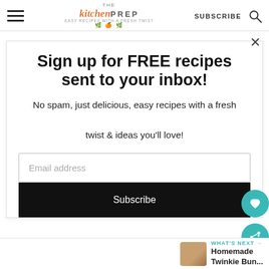THE kitchen PREP — EASY RECIPES WITH A FRESH TWIST | SUBSCRIBE
Sign up for FREE recipes sent to your inbox!
No spam, just delicious, easy recipes with a fresh twist & ideas you'll love!
Email address
Subscribe
WHAT'S NEXT → Homemade Twinkie Bun...